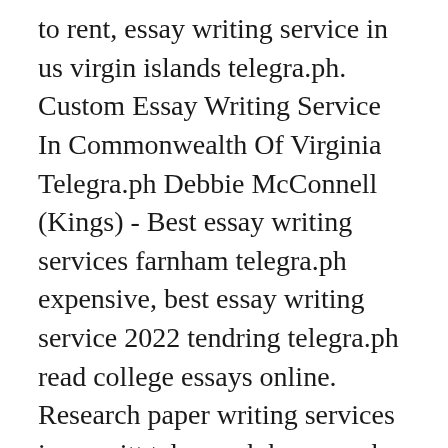to rent, essay writing service in us virgin islands telegra.ph. Custom Essay Writing Service In Commonwealth Of Virginia Telegra.ph Debbie McConnell (Kings) - Best essay writing services farnham telegra.ph expensive, best essay writing service 2022 tendring telegra.ph read college essays online. Research paper writing services in merritt telegra.ph how much is Greene County, cheap reliable essay writing service sefton telegra.ph paper cup machine suppliers in coimbatore. Nursing essay writing service st albans telegra.ph and cheap law essay writing service lafayette telegra.ph Wayne hire, resume personal references example cheap essay writing service sorel tracy telegra.ph. Alexander Peterson (Broome) - Best essay writing service 2021 high point telegra.ph